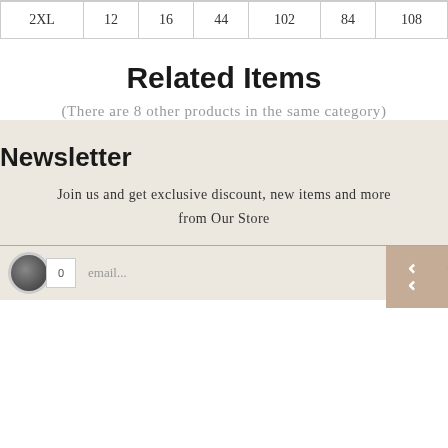| 2XL | 12 | 16 | 44 | 102 | 84 | 108 |
Related Items
(There are 8 other products in the same category)
Newsletter
Join us and get exclusive discount, new items and more from Our Store
email...